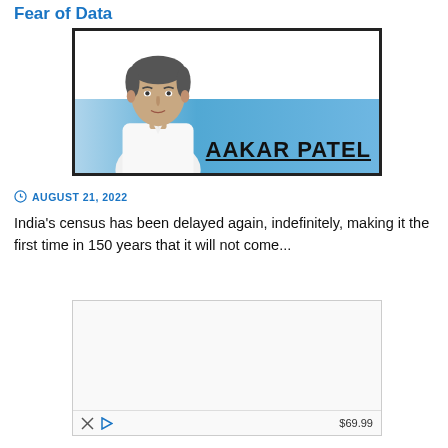Fear of Data
[Figure (photo): Author banner image showing Aakar Patel, a middle-aged man in a white shirt, against a blue gradient background with the text 'AAKAR PATEL' in bold underlined letters.]
AUGUST 21, 2022
India's census has been delayed again, indefinitely, making it the first time in 150 years that it will not come...
[Figure (other): Advertisement box with a price label of $69.99 and close/play icons at the bottom.]